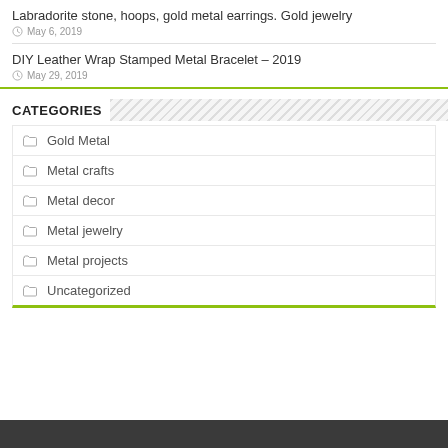Labradorite stone, hoops, gold metal earrings. Gold jewelry
May 6, 2019
DIY Leather Wrap Stamped Metal Bracelet – 2019
May 29, 2019
CATEGORIES
Gold Metal
Metal crafts
Metal decor
Metal jewelry
Metal projects
Uncategorized